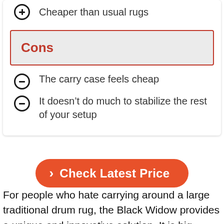Cheaper than usual rugs
Cons
The carry case feels cheap
It doesn’t do much to stabilize the rest of your setup
Check Latest Price
For people who hate carrying around a large traditional drum rug, the Black Widow provides a unique and innovative solution. It is big enough only to cover your drum throne and your kick pedals; in fact, it weighs less than 2 pounds